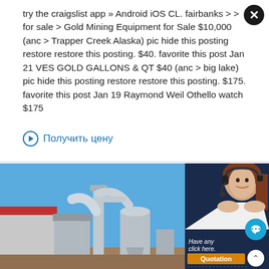try the craigslist app » Android iOS CL. fairbanks > > for sale > Gold Mining Equipment for Sale $10,000 (anc > Trapper Creek Alaska) pic hide this posting restore restore this posting. $40. favorite this post Jan 21 VES GOLD GALLONS & QT $40 (anc > big lake) pic hide this posting restore restore this posting. $175. favorite this post Jan 19 Raymond Weil Othello watch $175
⊙ Получить цену
[Figure (photo): Industrial gold mining equipment / processing plant with large pipes and machinery against a blue sky, with a red-roofed building to the left.]
[Figure (photo): Customer service woman wearing headset, smiling, overlaid on a dark blue sidebar panel with chat interface elements including a teal chat bubble button, 'Have any ... click here.' text, an orange 'Quotation' button, an up-arrow button, and Russian text 'дознание' and 'drobilkalm'.]